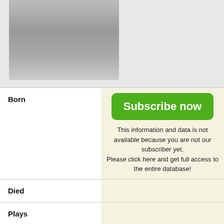[Figure (photo): Black and white photo of a person in light-colored clothing with a dark belt, upper body visible]
| Field | Value |
| --- | --- |
| Born | Subscribe now / [subscriber content] |
| Died | [subscriber content] |
| Plays | [subscriber content] |
This information and data is not available because you are not our subscriber yet. Please click here and get full access to the entire database!
| Field | Value |
| --- | --- |
| Bio | He was an Irish tennis and football player.

Goodbody was the son of Marcus Goodbody and Hannah Woodcock Perry. He represented Ireland at football in 1889 and 1891. In 1894 he finished runner-up to defending champion Robert |